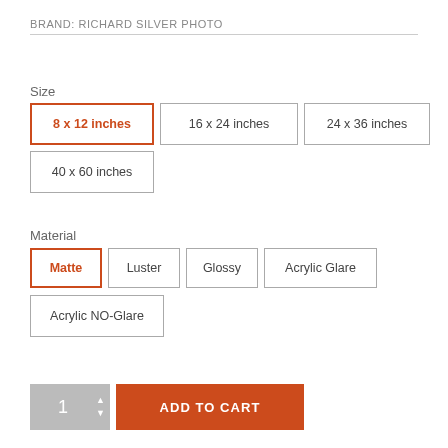BRAND: RICHARD SILVER PHOTO
Size
8 x 12 inches
16 x 24 inches
24 x 36 inches
40 x 60 inches
Material
Matte
Luster
Glossy
Acrylic Glare
Acrylic NO-Glare
1
ADD TO CART